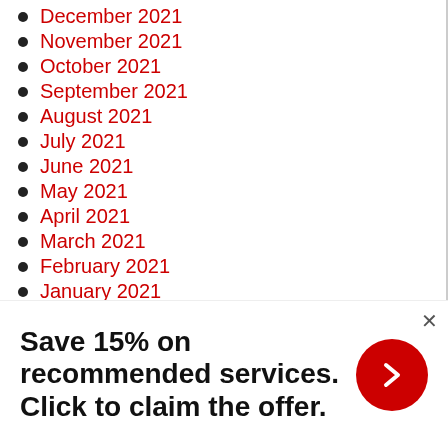December 2021
November 2021
October 2021
September 2021
August 2021
July 2021
June 2021
May 2021
April 2021
March 2021
February 2021
January 2021
Save 15% on recommended services. Click to claim the offer.